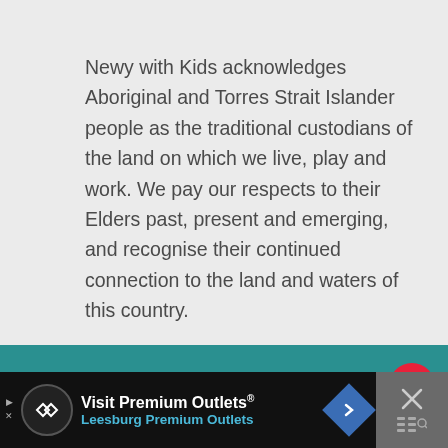Newy with Kids acknowledges Aboriginal and Torres Strait Islander people as the traditional custodians of the land on which we live, play and work. We pay our respects to their Elders past, present and emerging, and recognise their continued connection to the land and waters of this country.
© 2022 Newy with Kids
Exclusive Member of Mediavine Family
[Figure (screenshot): Advertisement banner: Visit Premium Outlets® Leesburg Premium Outlets with logo and navigation arrow icon]